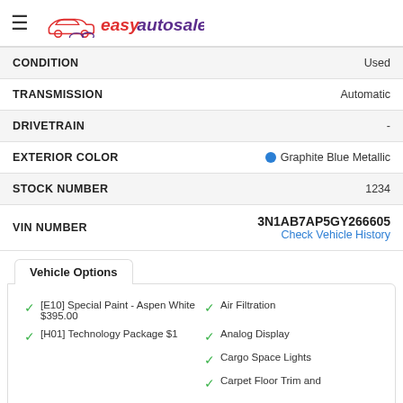easyautosales
| Field | Value |
| --- | --- |
| CONDITION | Used |
| TRANSMISSION | Automatic |
| DRIVETRAIN | - |
| EXTERIOR COLOR | Graphite Blue Metallic |
| STOCK NUMBER | 1234 |
| VIN NUMBER | 3N1AB7AP5GY266605 / Check Vehicle History |
Vehicle Options
[E10] Special Paint - Aspen White $395.00
[H01] Technology Package $1
Air Filtration
Analog Display
Cargo Space Lights
Carpet Floor Trim and